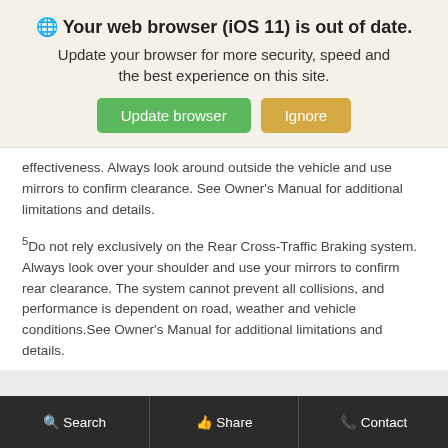🌐 Your web browser (iOS 11) is out of date. Update your browser for more security, speed and the best experience on this site.
effectiveness. Always look around outside the vehicle and use mirrors to confirm clearance. See Owner's Manual for additional limitations and details.
5Do not rely exclusively on the Rear Cross-Traffic Braking system. Always look over your shoulder and use your mirrors to confirm rear clearance. The system cannot prevent all collisions, and performance is dependent on road, weather and vehicle conditions.See Owner's Manual for additional limitations and details.
[Figure (logo): Joseph Airport Toyota logo placeholder]
Search  Share  Contact